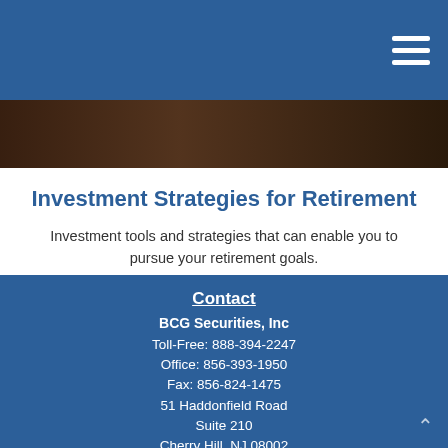[Figure (screenshot): Dark navigation bar with hamburger menu icon (three white horizontal lines) on the right side, blue background]
[Figure (photo): Dark hero image showing partial text and a person, dark brown/black tones]
Investment Strategies for Retirement
Investment tools and strategies that can enable you to pursue your retirement goals.
Contact
BCG Securities, Inc
Toll-Free: 888-394-2247
Office: 856-393-1950
Fax: 856-824-1475
51 Haddonfield Road
Suite 210
Cherry Hill, NJ 08002